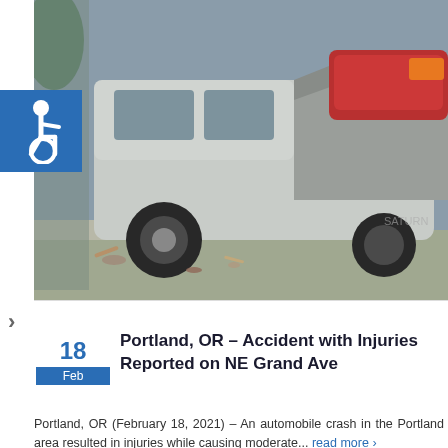[Figure (photo): A severely damaged silver/white car (rear-end collision damage) at an accident scene, debris on ground]
[Figure (illustration): Wheelchair accessibility icon in white on blue square background]
>
18
Feb
Portland, OR – Accident with Injuries Reported on NE Grand Ave
Portland, OR (February 18, 2021) – An automobile crash in the Portland area resulted in injuries while causing moderate...
read more >
[Figure (photo): A street intersection at dusk/dawn with a car driving through, traffic lights, stop sign, buildings in background including a beige/tan building with a red tile roof, palm trees]